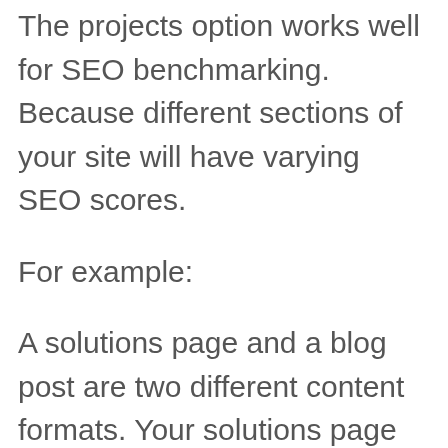The projects option works well for SEO benchmarking. Because different sections of your site will have varying SEO scores.
For example:
A solutions page and a blog post are two different content formats. Your solutions page might only contain a few hundred words. It's also more difficult to optimize these pages